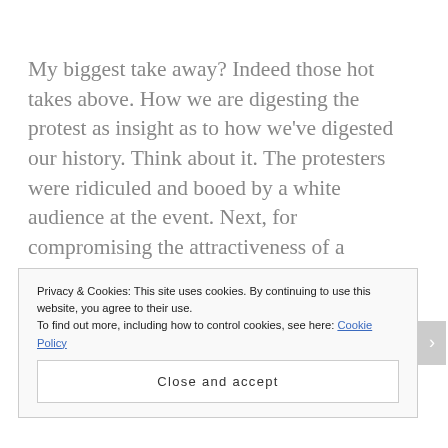My biggest take away? Indeed those hot takes above. How we are digesting the protest as insight as to how we've digested our history. Think about it. The protesters were ridiculed and booed by a white audience at the event. Next, for compromising the attractiveness of a candidate, the two women were chastised online by a largely white Progressive electorate who thinks 70 year old white man Bernie Sanders is the only viable option in a
Privacy & Cookies: This site uses cookies. By continuing to use this website, you agree to their use.
To find out more, including how to control cookies, see here: Cookie Policy
Close and accept